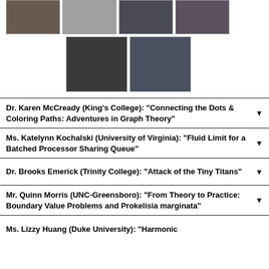[Figure (photo): Row of four small photo thumbnails at top of page showing people presenting]
[Figure (photo): Two photo thumbnails in a second row showing people presenting at a blackboard]
Dr. Karen McCready (King's College): "Connecting the Dots & Coloring Paths: Adventures in Graph Theory"
Ms. Katelynn Kochalski (University of Virginia): "Fluid Limit for a Batched Processor Sharing Queue"
Dr. Brooks Emerick (Trinity College): "Attack of the Tiny Titans"
Mr. Quinn Morris (UNC-Greensboro): "From Theory to Practice: Boundary Value Problems and Prokelisia marginata"
Ms. Lizzy Huang (Duke University): "Harmonic..."